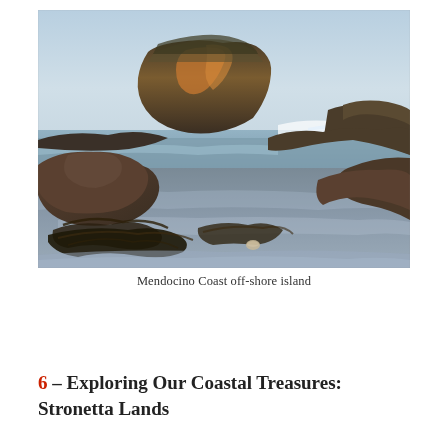[Figure (photo): Coastal landscape photograph showing rocky tide pools and beach in the foreground with kelp and debris, a large flat-topped offshore rock formation in the middle distance, ocean waves breaking to the right, and a pale blue sky above. Mendocino Coast off-shore island.]
Mendocino Coast off-shore island
6 – Exploring Our Coastal Treasures: Stronetta Lands